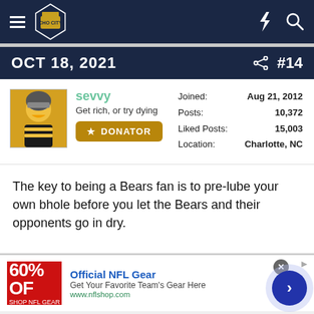Choc City forum navigation bar with hamburger menu, logo, lightning bolt icon, and search icon
OCT 18, 2021  #14
sevvy
Get rich, or try dying
DONATOR
Joined: Aug 21, 2012
Posts: 10,372
Liked Posts: 15,003
Location: Charlotte, NC
The key to being a Bears fan is to pre-lube your own bhole before you let the Bears and their opponents go in dry.
[Figure (screenshot): Advertisement banner: Official NFL Gear — Get Your Favorite Team's Gear Here, www.nflshop.com, with 60% OFF red sale image and navigation arrow button]